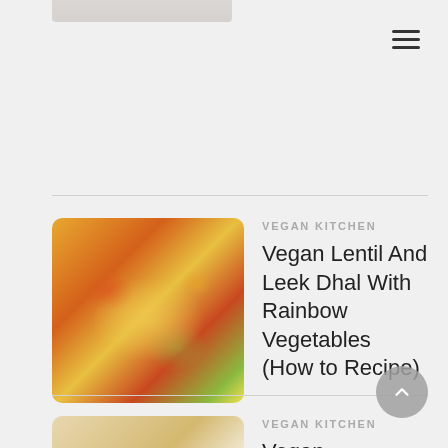[Figure (screenshot): Partial top image strip visible at top of page]
[Figure (other): Hamburger menu icon (three horizontal lines) in top-right corner]
[Figure (photo): Thumbnail photo of Vegan Lentil And Leek Dhal With Rainbow Vegetables dish]
VEGAN KITCHEN
Vegan Lentil And Leek Dhal With Rainbow Vegetables (How to Recipe)
[Figure (photo): Thumbnail photo of Vegan Cinnamon Bunnies on a heart-shaped plate]
VEGAN KITCHEN
Vegan Cinnamon Bunnies - How To Recipe
[Figure (photo): Thumbnail photo of Easy Vegan Hot Cross Buns]
VEGAN KITCHEN
Easy Vegan Hot Cross Buns Recipe - How To